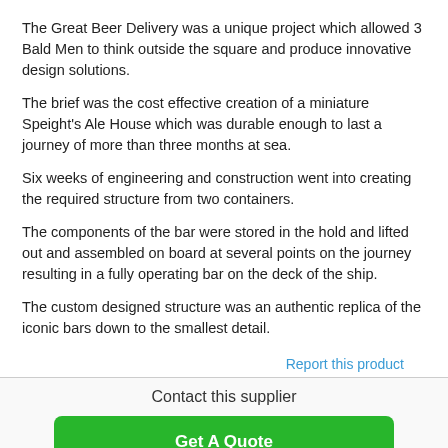The Great Beer Delivery was a unique project which allowed 3 Bald Men to think outside the square and produce innovative design solutions.
The brief was the cost effective creation of a miniature Speight's Ale House which was durable enough to last a journey of more than three months at sea.
Six weeks of engineering and construction went into creating the required structure from two containers.
The components of the bar were stored in the hold and lifted out and assembled on board at several points on the journey resulting in a fully operating bar on the deck of the ship.
The custom designed structure was an authentic replica of the iconic bars down to the smallest detail.
Report this product
Contact this supplier
Get A Quote
Call